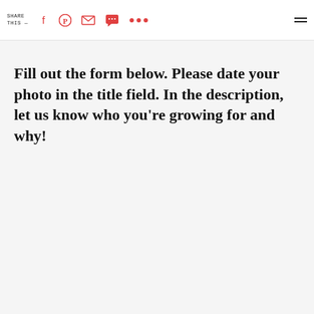SHARE THIS —
Fill out the form below. Please date your photo in the title field. In the description, let us know who you're growing for and why!